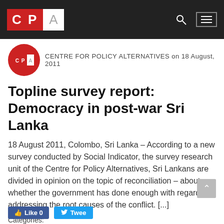CPA — Centre for Policy Alternatives
CENTRE FOR POLICY ALTERNATIVES on 18 August, 2011
Topline survey report: Democracy in post-war Sri Lanka
18 August 2011, Colombo, Sri Lanka – According to a new survey conducted by Social Indicator, the survey research unit of the Centre for Policy Alternatives, Sri Lankans are divided in opinion on the topic of reconciliation – about whether the government has done enough with regard to addressing the root causes of the conflict. [...]
Categories:   DocumentsPoll and SurveyPress ReleasesReportsStudy